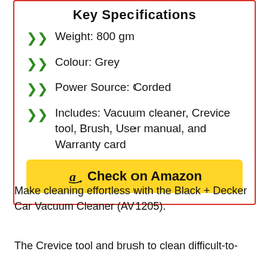Key Specifications
Weight: 800 gm
Colour: Grey
Power Source: Corded
Includes: Vacuum cleaner, Crevice tool, Brush, User manual, and Warranty card
Check on Amazon
Make cleaning effortless with the Black + Decker Car Vacuum Cleaner (AV1205).
The Crevice tool and brush to clean difficult-to-reach places effortlessly, the rotating...